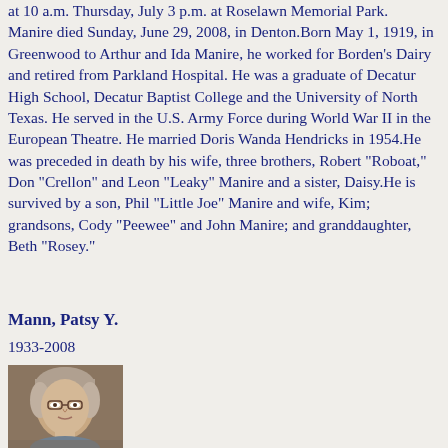at 10 a.m. Thursday, July 3 p.m. at Roselawn Memorial Park. Manire died Sunday, June 29, 2008, in Denton.Born May 1, 1919, in Greenwood to Arthur and Ida Manire, he worked for Borden's Dairy and retired from Parkland Hospital. He was a graduate of Decatur High School, Decatur Baptist College and the University of North Texas. He served in the U.S. Army Force during World War II in the European Theatre. He married Doris Wanda Hendricks in 1954.He was preceded in death by his wife, three brothers, Robert "Roboat," Don "Crellon" and Leon "Leaky" Manire and a sister, Daisy.He is survived by a son, Phil "Little Joe" Manire and wife, Kim; grandsons, Cody "Peewee" and John Manire; and granddaughter, Beth "Rosey."
Mann, Patsy Y.
1933-2008
[Figure (photo): Portrait photo of an elderly woman with short hair and glasses]